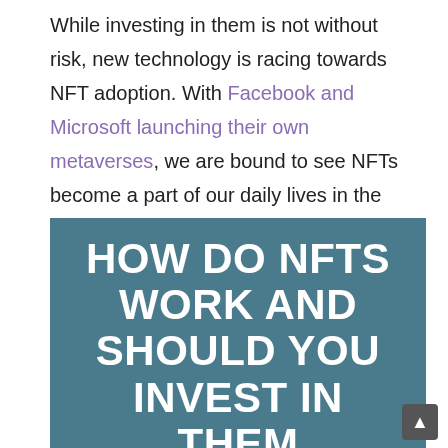While investing in them is not without risk, new technology is racing towards NFT adoption. With Facebook and Microsoft launching their own metaverses, we are bound to see NFTs become a part of our daily lives in the near future.
[Figure (infographic): Infographic with teal/dark blue background showing bold white text: 'HOW DO NFTS WORK AND SHOULD YOU INVEST IN THEM' with a partial image of a cloud-like character at the bottom on a dark navy background.]